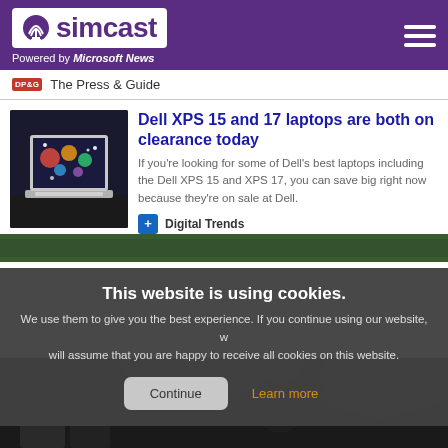simcast — Powered by Microsoft News
The Press & Guide
Dell XPS 15 and 17 laptops are both on clearance today
If you're looking for some of Dell's best laptops including the Dell XPS 15 and XPS 17, you can save big right now because they're on sale at Dell.
Digital Trends
[Figure (photo): Laptop with colorful display on dark background]
This website is using cookies. We use them to give you the best experience. If you continue using our website, we will assume that you are happy to receive all cookies on this website.
Continue | Learn more
[Figure (photo): Military or law enforcement personnel in outdoor setting]